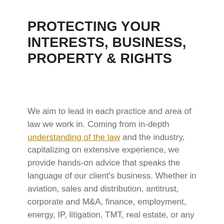PROTECTING YOUR INTERESTS, BUSINESS, PROPERTY & RIGHTS
We aim to lead in each practice and area of law we work in. Coming from in-depth understanding of the law and the industry, capitalizing on extensive experience, we provide hands-on advice that speaks the language of our client's business. Whether in aviation, sales and distribution, antitrust, corporate and M&A, finance, employment, energy, IP, litigation, TMT, real estate, or any other area of law, our clients can expect excellence and commitment to their objectives. Ensuring the operational functioning of the organisation, the